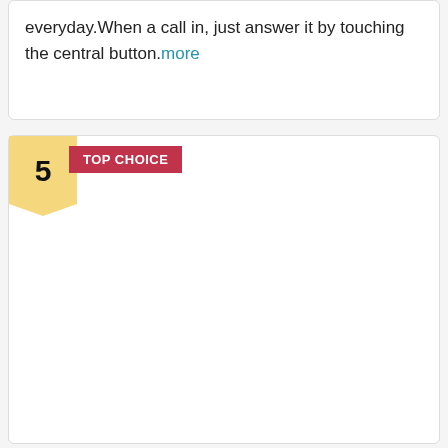everyday.When a call in, just answer it by touching the central button. more
5 TOP CHOICE